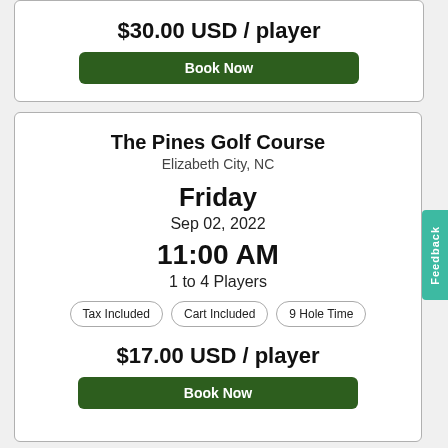$30.00 USD / player
Book Now
The Pines Golf Course
Elizabeth City, NC
Friday
Sep 02, 2022
11:00 AM
1 to 4 Players
Tax Included
Cart Included
9 Hole Time
$17.00 USD / player
Book Now